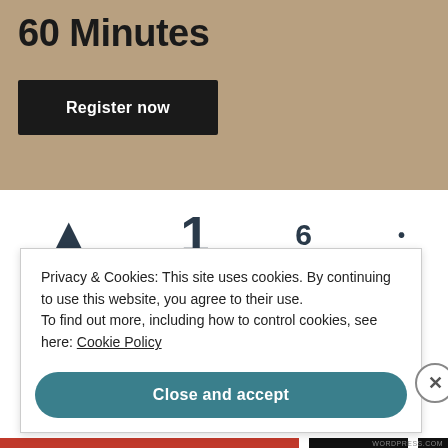60 Minutes
Register now
Privacy & Cookies: This site uses cookies. By continuing to use this website, you agree to their use.
To find out more, including how to control cookies, see here: Cookie Policy
Close and accept